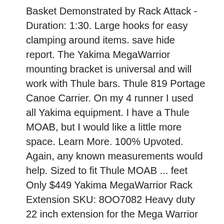Basket Demonstrated by Rack Attack - Duration: 1:30. Large hooks for easy clamping around items. save hide report. The Yakima MegaWarrior mounting bracket is universal and will work with Thule bars. Thule 819 Portage Canoe Carrier. On my 4 runner I used all Yakima equipment. I have a Thule MOAB, but I would like a little more space. Learn More. 100% Upvoted. Again, any known measurements would help. Sized to fit Thule MOAB ... feet Only $449 Yakima MegaWarrior Rack Extension SKU: 8OO7082 Heavy duty 22 inch extension for the Mega Warrior car roof top basket racks. Both the Yakima MegaWarrior Roof Cargo Basket # YO7080, and the Thule M.O.A.B Roof Cargo Carrier # TH690, include the hardware needed to mount to crossbars.Since your 2007 Toyota Sequoia has factory cross bars it will mount right to them. Decided against Thule because of price.